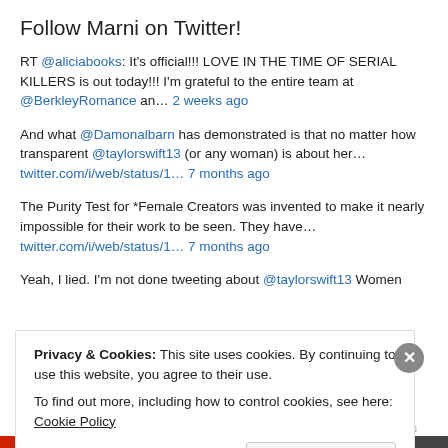Follow Marni on Twitter!
RT @aliciabooks: It's official!!! LOVE IN THE TIME OF SERIAL KILLERS is out today!!! I'm grateful to the entire team at @BerkleyRomance an… 2 weeks ago
And what @Damonalbarn has demonstrated is that no matter how transparent @taylorswift13 (or any woman) is about her… twitter.com/i/web/status/1… 7 months ago
The Purity Test for *Female Creators was invented to make it nearly impossible for their work to be seen. They have… twitter.com/i/web/status/1… 7 months ago
Yeah, I lied. I'm not done tweeting about @taylorswift13 Women
Privacy & Cookies: This site uses cookies. By continuing to use this website, you agree to their use.
To find out more, including how to control cookies, see here: Cookie Policy